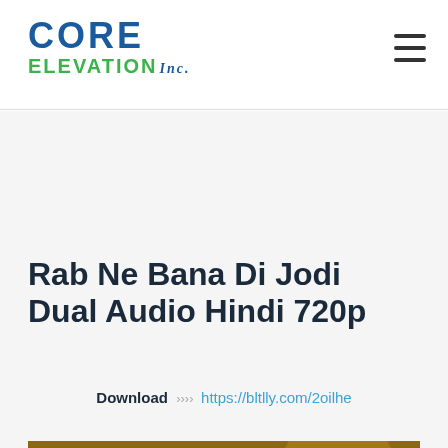[Figure (logo): Core Elevation Inc. logo with blue CORE text and green ELEVATION text]
Rab Ne Bana Di Jodi Dual Audio Hindi 720p
Download >>>> https://bltlly.com/2oilhe
[Figure (photo): A bride and groom from the movie Rab Ne Bana Di Jodi. The bride is wearing a red/gold bridal outfit with jewelry, and the groom is wearing glasses and a white shirt.]